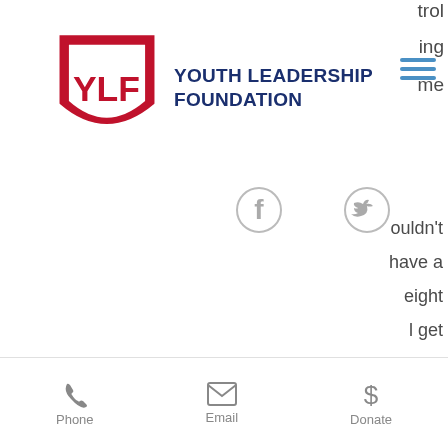[Figure (logo): Youth Leadership Foundation logo with YLF shield in red and dark blue text reading YOUTH LEADERSHIP FOUNDATION]
[Figure (infographic): Social media icons: Facebook, Twitter, Instagram in gray]
the strength you are looking for, you should move on to the legal steroids if it works for you.
Legal Muscle Growth Formula
For a legal muscle growth formula, please read this article to understand what ingredients you will need.
Phone   Email   Donate